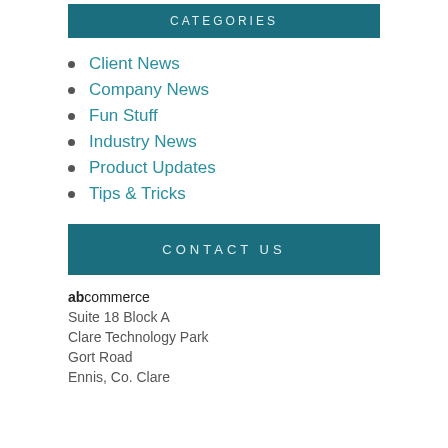CATEGORIES
Client News
Company News
Fun Stuff
Industry News
Product Updates
Tips & Tricks
CONTACT US
abcommerce
Suite 18 Block A
Clare Technology Park
Gort Road
Ennis, Co. Clare